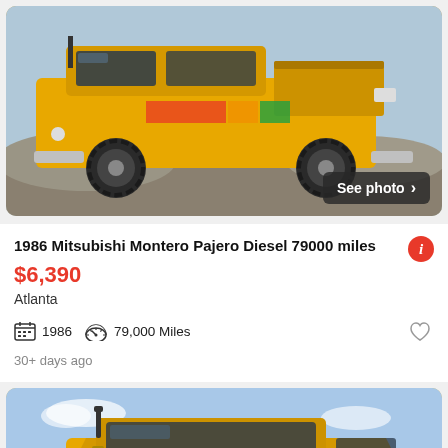[Figure (photo): Yellow Mitsubishi Montero Pajero 4x4 truck photographed from the rear-side angle, showing large off-road tires, outdoor rocky/coastal background. 'See photo >' button overlay bottom-right.]
1986 Mitsubishi Montero Pajero Diesel 79000 miles
$6,390
Atlanta
1986   79,000 Miles
30+ days ago
[Figure (photo): Yellow Mitsubishi Montero Pajero 4x4 truck photographed from front-side angle showing cab details, blue sky background. 'See photo >' button overlay bottom-right.]